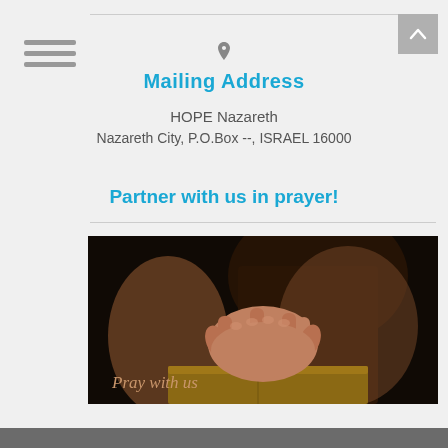Navigation menu icon and scroll-to-top button
Mailing Address
HOPE Nazareth
Nazareth City, P.O.Box --, ISRAEL 16000
Partner with us in prayer!
[Figure (photo): Photo of clasped hands resting on a Bible, dark background, with italic text overlay reading 'Pray with us']